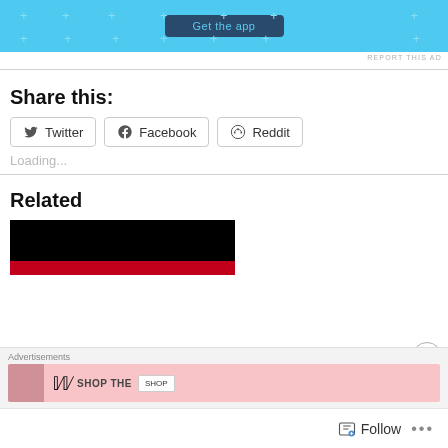[Figure (other): Advertisement banner with light blue background and 'Get the app' button]
REPORT THIS AD
Share this:
Twitter
Facebook
Reddit
Loading...
Related
[Figure (other): Related article thumbnail with black background and red stripe]
Advertisements
[Figure (other): Bottom advertisement banner with pink background showing woman, W logo, SHOP THE text, and SHOP button]
Follow